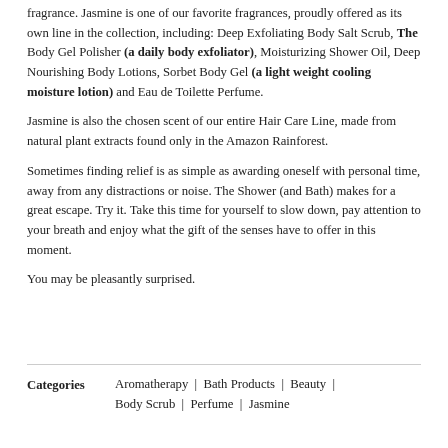fragrance. Jasmine is one of our favorite fragrances, proudly offered as its own line in the collection, including: Deep Exfoliating Body Salt Scrub, The Body Gel Polisher (a daily body exfoliator), Moisturizing Shower Oil, Deep Nourishing Body Lotions, Sorbet Body Gel (a light weight cooling moisture lotion) and Eau de Toilette Perfume.
Jasmine is also the chosen scent of our entire Hair Care Line, made from natural plant extracts found only in the Amazon Rainforest.
Sometimes finding relief is as simple as awarding oneself with personal time, away from any distractions or noise. The Shower (and Bath) makes for a great escape. Try it. Take this time for yourself to slow down, pay attention to your breath and enjoy what the gift of the senses have to offer in this moment.
You may be pleasantly surprised.
Categories   Aromatherapy | Bath Products | Beauty | Body Scrub | Perfume | Jasmine